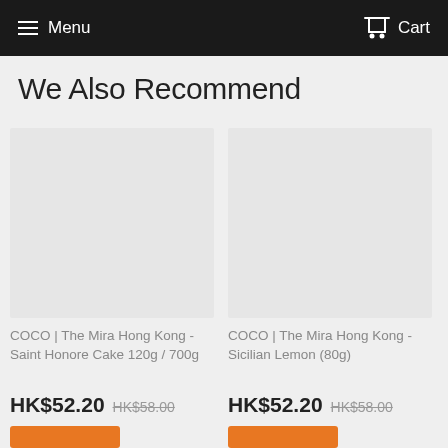Menu  Cart
We Also Recommend
COCO | The Mira Hong Kong - Saint Honore Cake 120g / 700g
HK$52.20  HK$58.00
COCO | The Mira Hong Kong - Sicilian Lemon (80g)
HK$52.20  HK$58.00